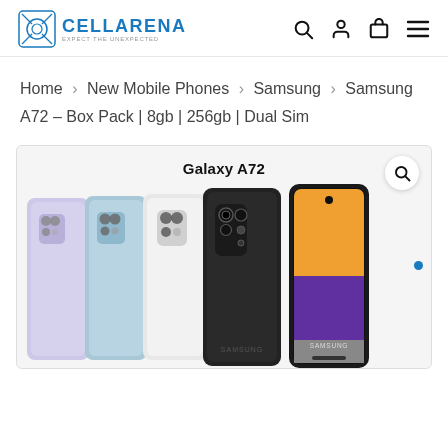CELLARENA — EXPECT THE UNEXPECTED
Home > New Mobile Phones > Samsung > Samsung A72 – Box Pack | 8gb | 256gb | Dual Sim
[Figure (photo): Samsung Galaxy A72 product image showing five phones from the back in lavender, blue, white, and black colors, plus one phone from the front showing the screen with a colorful wallpaper (orange, purple, gray gradient)]